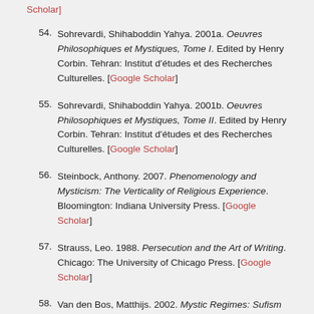Scholar]
54. Sohrevardi, Shihaboddin Yahya. 2001a. Oeuvres Philosophiques et Mystiques, Tome I. Edited by Henry Corbin. Tehran: Institut d'études et des Recherches Culturelles. [Google Scholar]
55. Sohrevardi, Shihaboddin Yahya. 2001b. Oeuvres Philosophiques et Mystiques, Tome II. Edited by Henry Corbin. Tehran: Institut d'études et des Recherches Culturelles. [Google Scholar]
56. Steinbock, Anthony. 2007. Phenomenology and Mysticism: The Verticality of Religious Experience. Bloomington: Indiana University Press. [Google Scholar]
57. Strauss, Leo. 1988. Persecution and the Art of Writing. Chicago: The University of Chicago Press. [Google Scholar]
58. Van den Bos, Matthijs. 2002. Mystic Regimes: Sufism and the State in Iran, from the Late Qajar era to the Islamic Republic. Leiden: Brill. [Google Scholar]